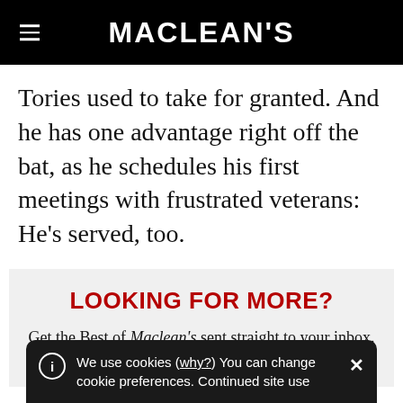MACLEAN'S
Tories used to take for granted. And he has one advantage right off the bat, as he schedules his first meetings with frustrated veterans: He’s served, too.
LOOKING FOR MORE?
Get the Best of Maclean’s sent straight to your inbox. Sign up for news, commentary and analysis.
We use cookies (why?) You can change cookie preferences. Continued site use